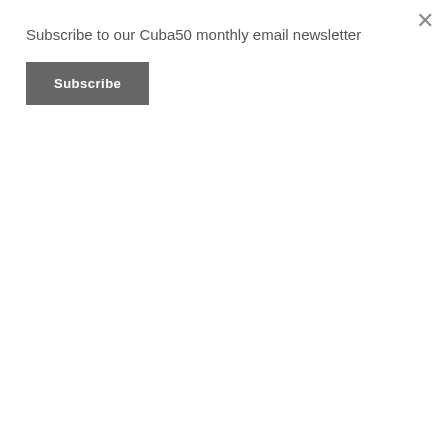Subscribe to our Cuba50 monthly email newsletter
Subscribe
CUBAN DESIGN
CUBAN ELECTRONIC MUSIC
CUBAN ICONS ARCHIVE
CUBAN JAZZ
CUBAN LITERATURE
CUBAN MUSIC
CUBAN PAINTING
CUBAN PHOTOGRAPHY
CUBAN POETRY
CUBAN RAP
CUBAN RUMBA
CUBAN SALSA
CUBAN SON
CUBAN THEATRE
CUBAN TIMBA
CUBAN TV
DANCE